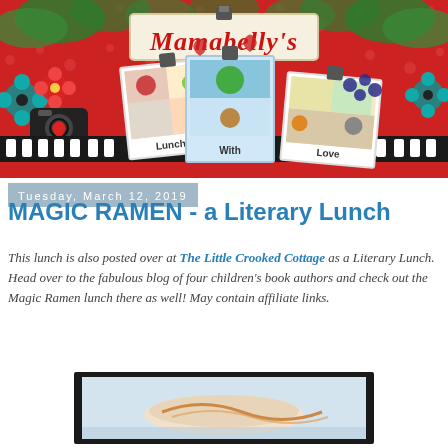[Figure (illustration): Mamabelly's Lunches With Love blog header banner with decorative scrapbook-style design featuring polaroid photos of bento lunches, flowers, filmstrip, and 'Mamabelly's' script title. Subtext: Lunches With Love.]
Tuesday, March 12, 2019
MAGIC RAMEN - a Literary Lunch
This lunch is also posted over at The Little Crooked Cottage as a Literary Lunch. Head over to the fabulous blog of four children's book authors and check out the Magic Ramen lunch there as well! May contain affiliate links.
[Figure (photo): Partial view of a food photo with dark background showing what appears to be a ramen-themed bento lunch.]